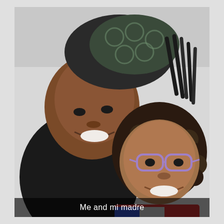[Figure (photo): A selfie of two smiling women with their heads together. The woman on the left/top is wearing a dark patterned headwrap and a black jacket; the woman on the right/bottom has curly hair and is wearing purple-framed glasses and a colorful top. The photo appears to be taken indoors.]
Me and mi madre